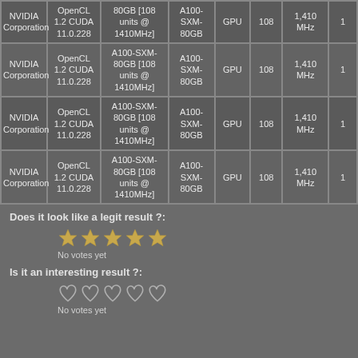|  | OpenCL 1.2 CUDA 11.0.228 | A100-SXM-80GB [108 units @ 1410MHz] | A100-SXM-80GB | GPU | 108 | 1,410 MHz | 1 |
| --- | --- | --- | --- | --- | --- | --- | --- |
| NVIDIA Corporation | OpenCL 1.2 CUDA 11.0.228 | 80GB [108 units @ 1410MHz] | A100-SXM-80GB | GPU | 108 | 1,410 MHz | 1 |
| NVIDIA Corporation | OpenCL 1.2 CUDA 11.0.228 | A100-SXM-80GB [108 units @ 1410MHz] | A100-SXM-80GB | GPU | 108 | 1,410 MHz | 1 |
| NVIDIA Corporation | OpenCL 1.2 CUDA 11.0.228 | A100-SXM-80GB [108 units @ 1410MHz] | A100-SXM-80GB | GPU | 108 | 1,410 MHz | 1 |
| NVIDIA Corporation | OpenCL 1.2 CUDA 11.0.228 | A100-SXM-80GB [108 units @ 1410MHz] | A100-SXM-80GB | GPU | 108 | 1,410 MHz | 1 |
Does it look like a legit result ?:
No votes yet
Is it an interesting result ?:
No votes yet